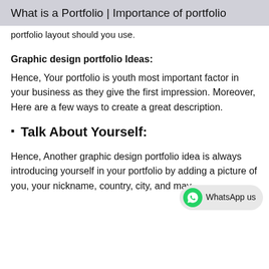What is a Portfolio | Importance of portfolio
portfolio layout should you use.
Graphic design portfolio Ideas:
Hence, Your portfolio is youth most important factor in your business as they give the first impression. Moreover,  Here are a few ways to create a great description.
Talk About Yourself:
Hence, Another graphic design portfolio idea is always introducing yourself in your portfolio by adding a picture of you, your nickname, country, city, and may